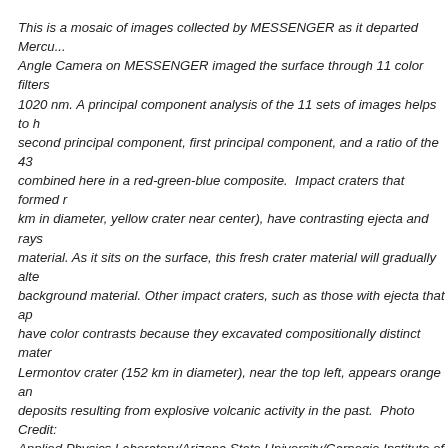This is a mosaic of images collected by MESSENGER as it departed Mercury. The Wide Angle Camera on MESSENGER imaged the surface through 11 color filters ranging from 430 to 1020 nm. A principal component analysis of the 11 sets of images helps to highlight the second principal component, first principal component, and a ratio of the 430 and 1000 nm combined here in a red-green-blue composite.  Impact craters that formed more recently (85 km in diameter, yellow crater near center), have contrasting ejecta and rays of bright blue material. As it sits on the surface, this fresh crater material will gradually alter to match the background material. Other impact craters, such as those with ejecta that appear orange, have color contrasts because they excavated compositionally distinct material. The Lermontov crater (152 km in diameter), near the top left, appears orange and has irregular deposits resulting from explosive volcanic activity in the past.  Photo Credit: NASA/Johns Hopkins Applied Physics Laboratory/Arizona State University/Carnegie Institute of Washington
"Mercury's surface tells us something fundamental about how the planet formed," said Brett Denevi, a postdoctoral research associate in the School of Earth and Space Exploration at ASU University. "Some of the little evidence that we had prior to MESSENGER suggested that the composition of Mercury's crust was similar to that of the Moon, leading to the idea that it formed the same manner, with any volcanism that may have occurred being only a